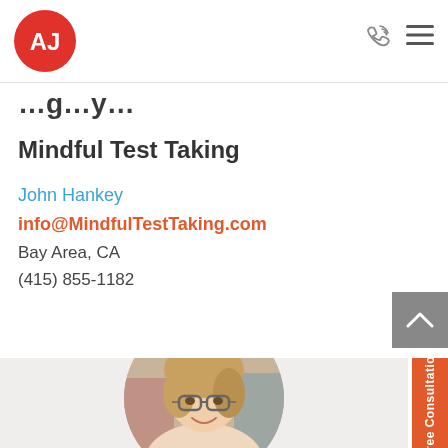[Figure (logo): AJ circular red logo with white letters AJ]
[Figure (illustration): Phone/call icon and hamburger menu icon in top right navigation]
…g…y…
Mindful Test Taking
John Hankey
info@MindfulTestTaking.com
Bay Area, CA
(415) 855-1182
[Figure (photo): Circular portrait photo of a woman with glasses and blonde hair, smiling, with bookshelves in background]
[Figure (illustration): Gray scroll-up button with chevron arrow]
[Figure (illustration): Orange vertical Free Consultation tab on right side]